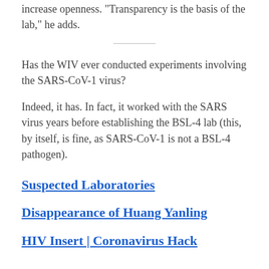increase openness. "Transparency is the basis of the lab," he adds.
Has the WIV ever conducted experiments involving the SARS-CoV-1 virus?
Indeed, it has. In fact, it worked with the SARS virus years before establishing the BSL-4 lab (this, by itself, is fine, as SARS-CoV-1 is not a BSL-4 pathogen).
Suspected Laboratories
Disappearance of Huang Yanling
HIV Insert | Coronavirus Hack